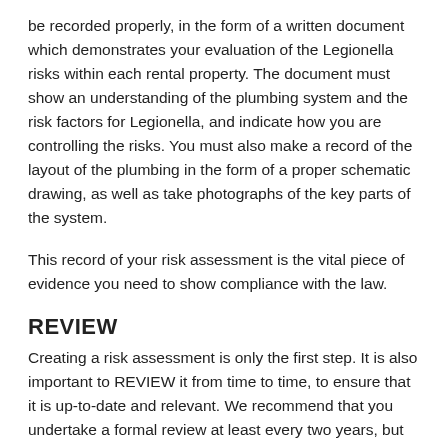be recorded properly, in the form of a written document which demonstrates your evaluation of the Legionella risks within each rental property. The document must show an understanding of the plumbing system and the risk factors for Legionella, and indicate how you are controlling the risks. You must also make a record of the layout of the plumbing in the form of a proper schematic drawing, as well as take photographs of the key parts of the system.
This record of your risk assessment is the vital piece of evidence you need to show compliance with the law.
REVIEW
Creating a risk assessment is only the first step. It is also important to REVIEW it from time to time, to ensure that it is up-to-date and relevant. We recommend that you undertake a formal review at least every two years, but always if something has changed. Changes which should trigger a risk assessment review include building work (e.g. conversion, extension, bathroom installation), any adjustments to the